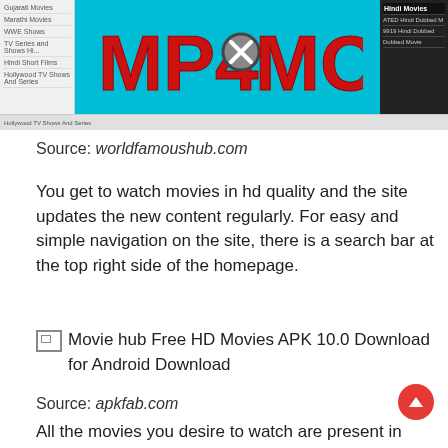[Figure (screenshot): Screenshot of mp4moviez website with cyan background, red bold MP4MOVIEZ logo with a close/block icon in the middle, left navigation menu with items like Gujarati Movies, Marathi Movies, WWE Shows, TV Series and Shows, Hindi Short Films, and right panel showing Hindi Movies menu]
Source: worldfamoushub.com
You get to watch movies in hd quality and the site updates the new content regularly. For easy and simple navigation on the site, there is a search bar at the top right side of the homepage.
[Figure (screenshot): Broken image placeholder for Movie hub Free HD Movies APK 10.0 Download for Android Download]
Source: apkfab.com
All the movies you desire to watch are present in different resolutions such as 1080p and 720p. Download movie hub for windows 10 for windows to enjoy more than 14000